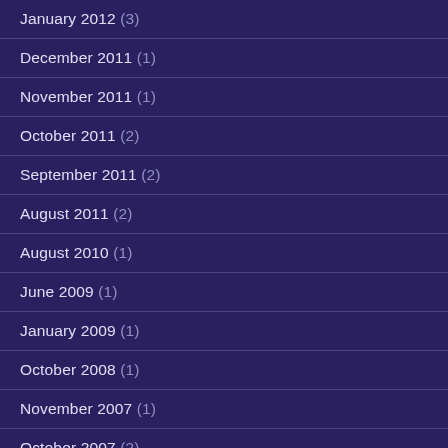January 2012 (3)
December 2011 (1)
November 2011 (1)
October 2011 (2)
September 2011 (2)
August 2011 (2)
August 2010 (1)
June 2009 (1)
January 2009 (1)
October 2008 (1)
November 2007 (1)
October 2007 (2)